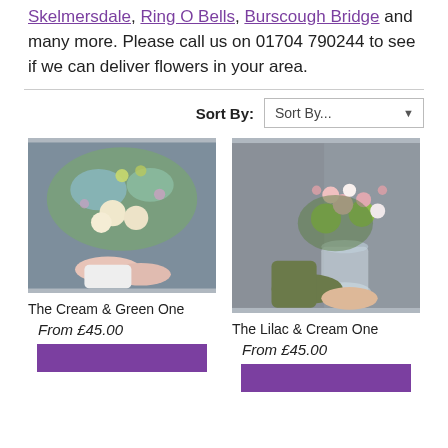Skelmersdale, Ring O Bells, Burscough Bridge and many more. Please call us on 01704 790244 to see if we can deliver flowers in your area.
Sort By: Sort By...
[Figure (photo): A person holding a bouquet of cream, white and green flowers with blue foliage against a grey background.]
The Cream & Green One
From £45.00
[Figure (photo): A person holding a glass vase with lilac, pink and green flowers against a grey background.]
The Lilac & Cream One
From £45.00